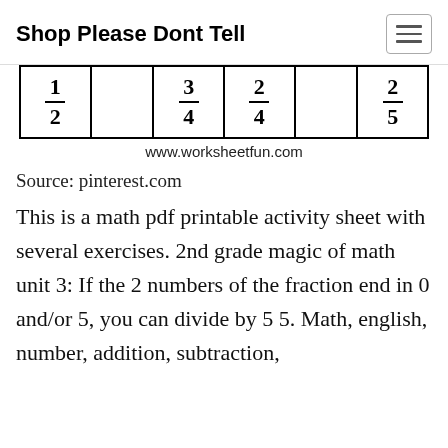Shop Please Dont Tell
[Figure (other): A fraction worksheet showing fractions 1/2, 3/4, 2/4, 2/5 in a bordered table with blank cells between them]
www.worksheetfun.com
Source: pinterest.com
This is a math pdf printable activity sheet with several exercises. 2nd grade magic of math unit 3: If the 2 numbers of the fraction end in 0 and/or 5, you can divide by 5 5. Math, english, number, addition, subtraction,